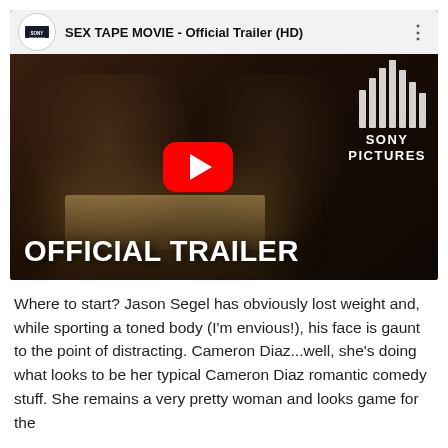[Figure (screenshot): YouTube video thumbnail showing the official trailer for 'Sex Tape Movie'. The thumbnail depicts a man and woman sitting on a couch in a dark room, both looking alarmed at a laptop screen. A large red YouTube play button is centered on the image. Text reads 'OFFICIAL TRAILER' in large white block letters at the bottom left. The Sony Pictures logo with vertical stripes appears in the top right. The YouTube top bar shows the video title 'SEX TAPE MOVIE - Official Trailer (HD)' next to the Sony Pictures channel icon.]
Where to start?  Jason Segel has obviously lost weight and, while sporting a toned body (I'm envious!), his face is gaunt to the point of distracting.  Cameron Diaz...well, she's doing what looks to be her typical Cameron Diaz romantic comedy stuff.  She remains a very pretty woman and looks game for the